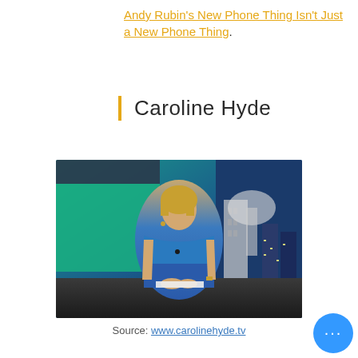Andy Rubin's New Phone Thing Isn't Just a New Phone Thing.
Caroline Hyde
[Figure (photo): Caroline Hyde, a blonde woman in a blue sleeveless dress, seated at a news desk in a TV studio with teal and blue screens in the background, and a city skyline visible through a window.]
Source: www.carolinehyde.tv